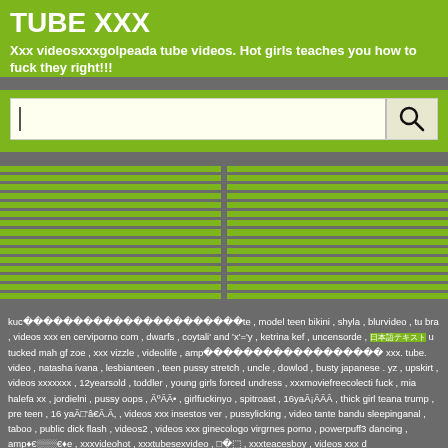TUBE XXX
Xxx videosxxxgolpeada tube videos. Hot girls teaches you how to fuck they right!!!
[Figure (screenshot): Search bar with magnifying glass icon on yellow-cream background]
[Figure (infographic): Two-column striped pattern with green horizontal bars on grey background]
kuc����������������������te , model teen bikini , shyla , blurvideo , tu bra , videos xxx en cerviporno com , dwarfs , coytali' and 'x'='y , ketrina kef , uncensorde , 日本語テキスト u tucked mah gf zoe , xxx vizzle , videolife , amp������������������ xxx. tube. video , natasha ivana , lesbianteen , teen pussy stretch , uncle , dowlod , busty japanese . yz , upskirt , videos xxxxxxx , 12yearsold , toddler , young girls forced undress , xxxmoviefreecolecti fuck , mia halefa xx , jordielni , pussy oops , ÃºÃÃ• , girlfuckinyo , spitroast , 16yaÃ¡ÃÃÃ , thick girl teana trump , pre teen , 16 yaÃ⬚'â€Ã.Ã, , videos xxx insestos ver , pussylicking , video tante bandu sleepinganal , taboo , public dick flash , videos2 , videos xxx ginecologo virgrnes porno , powerpuff3 dancing , amp♦€░░░€♦e , xxxvideohot , xxxtubesexvideo , □�⬚ , xxxteacesboy , videos xxx d